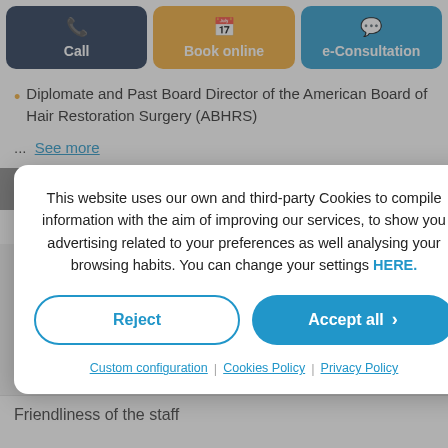[Figure (screenshot): Three action buttons: Call (dark navy), Book online (orange/amber), e-Consultation (blue)]
Diplomate and Past Board Director of the American Board of Hair Restoration Surgery (ABHRS)
... See more
Languages spoken
This website uses our own and third-party Cookies to compile information with the aim of improving our services, to show you advertising related to your preferences as well analysing your browsing habits. You can change your settings HERE.
Reject
Accept all
Custom configuration | Cookies Policy | Privacy Policy
Friendliness of the staff